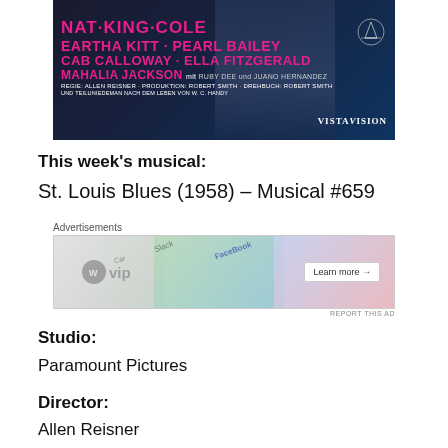[Figure (photo): Movie poster for St. Louis Blues (1958) featuring names: NAT·KING·COLE, EARTHA KITT · PEARL BAILEY, CAB CALLOWAY · ELLA FITZGERALD, MAHALIA JACKSON mit RUBY DEE und JUANO HERNANDEZ. Dark background with pink/magenta text. VISTAVISION logo and Paramount mountain logo visible.]
This week's musical:
St. Louis Blues (1958) – Musical #659
[Figure (screenshot): Advertisement banner for WordPress VIP showing WP VIP logo, colorful background with app icons (Slack, Facebook etc.), and 'Learn more →' button.]
Studio:
Paramount Pictures
Director:
Allen Reisner